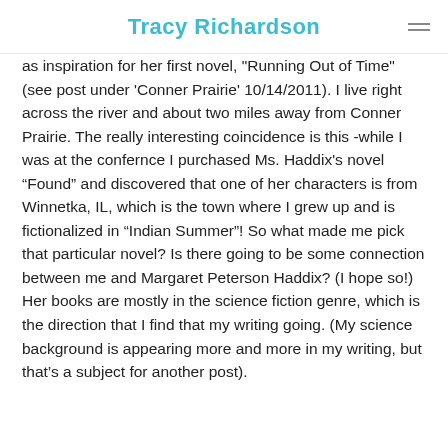Tracy Richardson
as inspiration for her first novel, "Running Out of Time" (see post under 'Conner Prairie' 10/14/2011). I live right across the river and about two miles away from Conner Prairie. The really interesting coincidence is this -while I was at the confernce I purchased Ms. Haddix's novel “Found” and discovered that one of her characters is from Winnetka, IL, which is the town where I grew up and is fictionalized in “Indian Summer”! So what made me pick that particular novel? Is there going to be some connection between me and Margaret Peterson Haddix? (I hope so!) Her books are mostly in the science fiction genre, which is the direction that I find that my writing going. (My science background is appearing more and more in my writing, but that's a subject for another post).